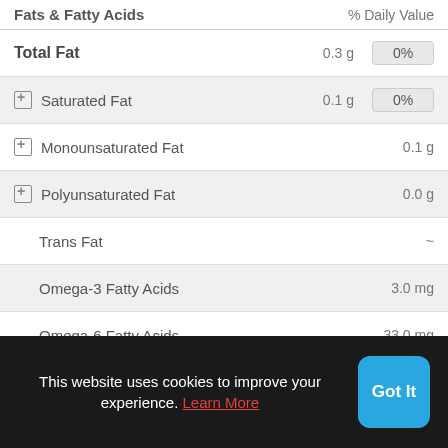Fats & Fatty Acids    % Daily Value
| Nutrient | Amount | % Daily Value |
| --- | --- | --- |
| Total Fat | 0.3 g | 0% |
| Saturated Fat | 0.1 g | 0% |
| Monounsaturated Fat | 0.1 g |  |
| Polyunsaturated Fat | 0.0 g |  |
| Trans Fat | ~ |  |
| Omega-3 Fatty Acids | 3.0 mg |  |
| Omega-6 Fatty Acids | 33.0 mg |  |
Sterols    % Daily Value
This website uses cookies to improve your experience. Learn More
Got It